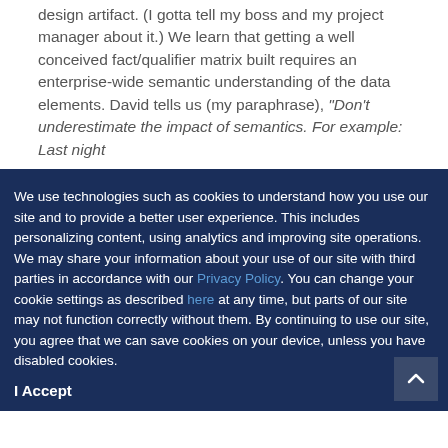design artifact. (I gotta tell my boss and my project manager about it.) We learn that getting a well conceived fact/qualifier matrix built requires an enterprise-wide semantic understanding of the data elements. David tells us (my paraphrase), "Don't underestimate the impact of semantics. For example: Last night
We use technologies such as cookies to understand how you use our site and to provide a better user experience. This includes personalizing content, using analytics and improving site operations. We may share your information about your use of our site with third parties in accordance with our Privacy Policy. You can change your cookie settings as described here at any time, but parts of our site may not function correctly without them. By continuing to use our site, you agree that we can save cookies on your device, unless you have disabled cookies.
I Accept